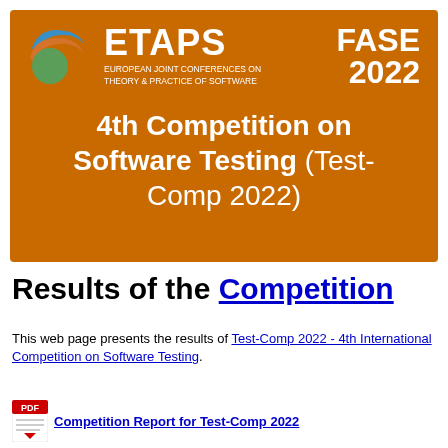[Figure (illustration): ETAPS banner with logo, FASE 2022 branding, and '4th Competition on Software Testing (Test-Comp 2022)' title on an orange background]
Results of the Competition
This web page presents the results of Test-Comp 2022 - 4th International Competition on Software Testing.
[Figure (illustration): PDF icon followed by a partially visible link to the Competition Report for Test-Comp 2022]